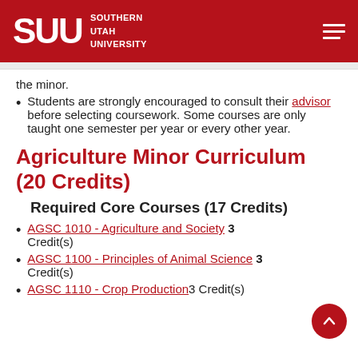SUU SOUTHERN UTAH UNIVERSITY
the minor.
Students are strongly encouraged to consult their advisor before selecting coursework. Some courses are only taught one semester per year or every other year.
Agriculture Minor Curriculum (20 Credits)
Required Core Courses (17 Credits)
AGSC 1010 - Agriculture and Society 3 Credit(s)
AGSC 1100 - Principles of Animal Science 3 Credit(s)
AGSC 1110 - Crop Production 3 Credit(s)